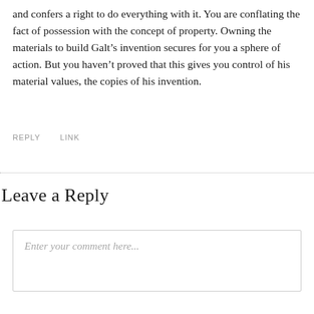and confers a right to do everything with it. You are conflating the fact of possession with the concept of property. Owning the materials to build Galt’s invention secures for you a sphere of action. But you haven’t proved that this gives you control of his material values, the copies of his invention.
REPLY   LINK
Leave a Reply
Enter your comment here...